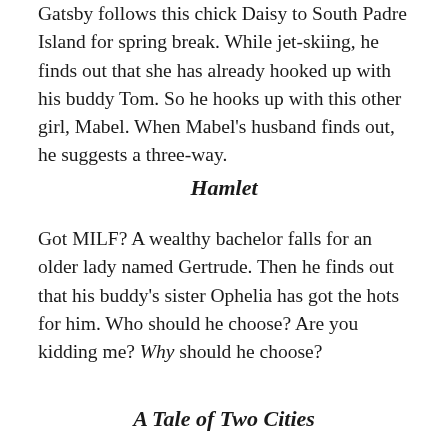Gatsby follows this chick Daisy to South Padre Island for spring break. While jet-skiing, he finds out that she has already hooked up with his buddy Tom. So he hooks up with this other girl, Mabel. When Mabel's husband finds out, he suggests a three-way.
Hamlet
Got MILF? A wealthy bachelor falls for an older lady named Gertrude. Then he finds out that his buddy's sister Ophelia has got the hots for him. Who should he choose? Are you kidding me? Why should he choose?
A Tale of Two Cities